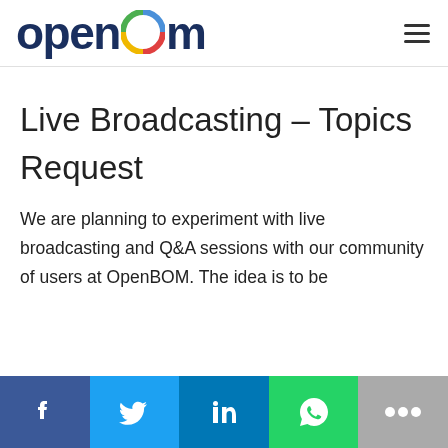openbom [logo] ≡
Live Broadcasting – Topics
Request
We are planning to experiment with live broadcasting and Q&A sessions with our community of users at OpenBOM. The idea is to be
[Figure (infographic): Social sharing bar with five buttons: Facebook (dark blue, f icon), Twitter (light blue, bird icon), LinkedIn (medium blue, in icon), WhatsApp (green, phone bubble icon), More (gray, three dots icon)]